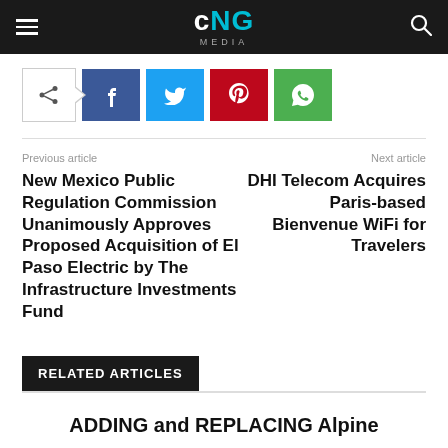CNG MEDIA
[Figure (other): Social share bar with toggle button, Facebook, Twitter, Pinterest, and WhatsApp icon buttons]
Previous article
Next article
New Mexico Public Regulation Commission Unanimously Approves Proposed Acquisition of El Paso Electric by The Infrastructure Investments Fund
DHI Telecom Acquires Paris-based Bienvenue WiFi for Travelers
RELATED ARTICLES
ADDING and REPLACING Alpine